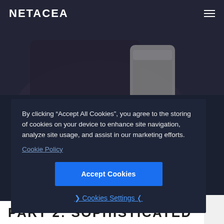[Figure (photo): Dark background photo showing a person's hands holding a smartphone, with a blurred background. Dark blue/grey tones.]
NETACEA
By clicking “Accept All Cookies”, you agree to the storing of cookies on your device to enhance site navigation, analyze site usage, and assist in our marketing efforts.
Cookie Policy
Accept Cookies
Cookies Settings
PART 2: SOPHISTICATED